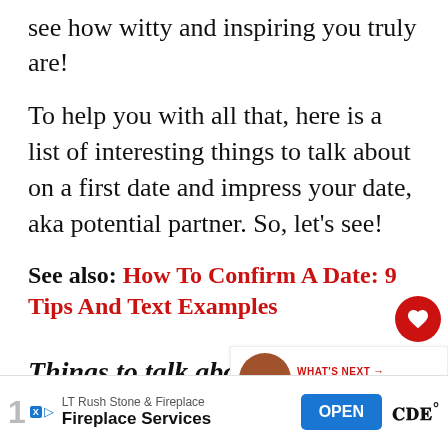see how witty and inspiring you truly are!
To help you with all that, here is a list of interesting things to talk about on a first date and impress your date, aka potential partner. So, let’s see!
See also: How To Confirm A Date: 9 Tips And Text Examples
Things to talk about on a fi—
[Figure (infographic): Social sidebar with heart/like button showing count 3 and a share button]
[Figure (infographic): What’s Next banner with circular photo and text: Top 69 Speed Dating...]
[Figure (infographic): Advertisement bar: LT Rush Stone & Fireplace - Fireplace Services - OPEN button]